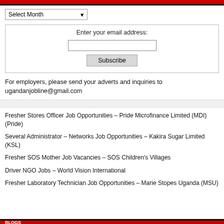[Figure (other): Red and black top bar banner]
Select Month
Enter your email address:
Subscribe
For employers, please send your adverts and inquiries to ugandanjobline@gmail.com
Fresher Stores Officer Job Opportunities – Pride Microfinance Limited (MDI) (Pride)
Several Administrator – Networks Job Opportunities – Kakira Sugar Limited (KSL)
Fresher SOS Mother Job Vacancies – SOS Children's Villages
Driver NGO Jobs – World Vision International
Fresher Laboratory Technician Job Opportunities – Marie Stopes Uganda (MSU)
[Figure (other): Red and black bottom bar banner]